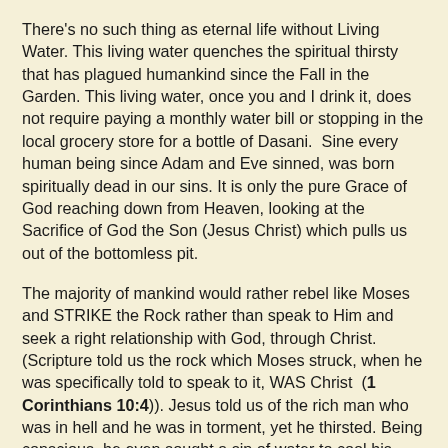There's no such thing as eternal life without Living Water. This living water quenches the spiritual thirsty that has plagued humankind since the Fall in the Garden. This living water, once you and I drink it, does not require paying a monthly water bill or stopping in the local grocery store for a bottle of Dasani.  Sine every human being since Adam and Eve sinned, was born spiritually dead in our sins. It is only the pure Grace of God reaching down from Heaven, looking at the Sacrifice of God the Son (Jesus Christ) which pulls us out of the bottomless pit.
The majority of mankind would rather rebel like Moses and STRIKE the Rock rather than speak to Him and seek a right relationship with God, through Christ. (Scripture told us the rock which Moses struck, when he was specifically told to speak to it, WAS Christ  (1 Corinthians 10:4)). Jesus told us of the rich man who was in hell and he was in torment, yet he thirsted. Being conscious, he even sought a sip of water to cool his tongue. Why does this even have to happen when the cool, peaceful water of Life is completely FREE and available to everyone, everywhere (John 3:16)?!